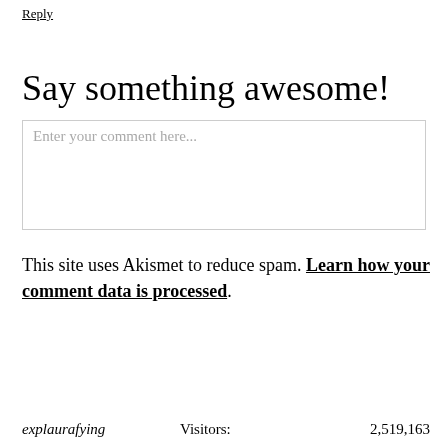Reply
Say something awesome!
Enter your comment here...
This site uses Akismet to reduce spam. Learn how your comment data is processed.
explaurafying    Visitors:    2,519,163